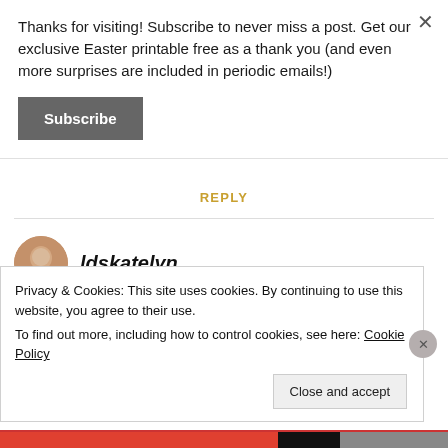Thanks for visiting! Subscribe to never miss a post. Get our exclusive Easter printable free as a thank you (and even more surprises are included in periodic emails!)
Subscribe
REPLY
ldskatelyn
Privacy & Cookies: This site uses cookies. By continuing to use this website, you agree to their use.
To find out more, including how to control cookies, see here: Cookie Policy
Close and accept